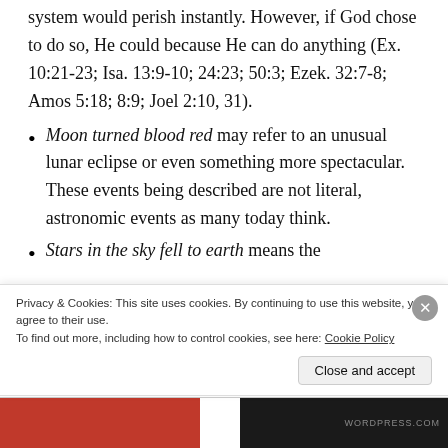system would perish instantly. However, if God chose to do so, He could because He can do anything (Ex. 10:21-23; Isa. 13:9-10; 24:23; 50:3; Ezek. 32:7-8; Amos 5:18; 8:9; Joel 2:10, 31).
Moon turned blood red may refer to an unusual lunar eclipse or even something more spectacular. These events being described are not literal, astronomic events as many today think.
Stars in the sky fell to earth means the
Privacy & Cookies: This site uses cookies. By continuing to use this website, you agree to their use.
To find out more, including how to control cookies, see here: Cookie Policy